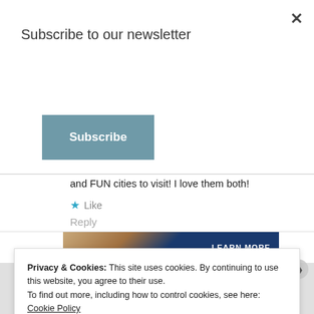Subscribe to our newsletter
Subscribe
existed, either! 😄 And I'm thinking I might need one for my office. 😤 NYC and DC are beautiful and FUN cities to visit! I love them both!
★ Like
Reply
Privacy & Cookies: This site uses cookies. By continuing to use this website, you agree to their use.
To find out more, including how to control cookies, see here: Cookie Policy
Close and accept